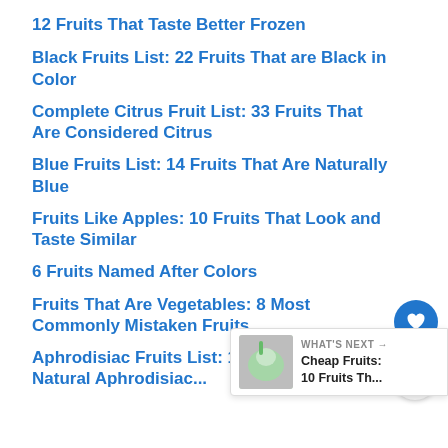12 Fruits That Taste Better Frozen
Black Fruits List: 22 Fruits That are Black in Color
Complete Citrus Fruit List: 33 Fruits That Are Considered Citrus
Blue Fruits List: 14 Fruits That Are Naturally Blue
Fruits Like Apples: 10 Fruits That Look and Taste Similar
6 Fruits Named After Colors
Fruits That Are Vegetables: 8 Most Commonly Mistaken Fruits
Aphrodisiac Fruits List: 12 Fruits That are Natural Aphrodisiacs
WHAT'S NEXT → Cheap Fruits: 10 Fruits Th...